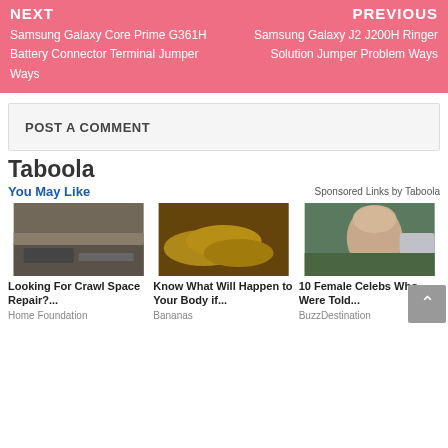NEXT — Samsung Galaxy Core Prime G361H Battery Connector Terminal Jumper Ways
PREVIOUS — Samsung Galaxy J2 J200H Ringer Solution Jumper Problem Ways
POST A COMMENT
Taboola
You May Like
Sponsored Links by Taboola
[Figure (photo): Looking For Crawl Space Repair? photo]
Looking For Crawl Space Repair?...
Home Foundation
[Figure (photo): Know What Will Happen to Your Body if... photo showing bananas]
Know What Will Happen to Your Body if...
Bananas
[Figure (photo): 10 Female Celebs Who Were Told... photo showing woman looking back]
10 Female Celebs Who Were Told...
BuzzDestination